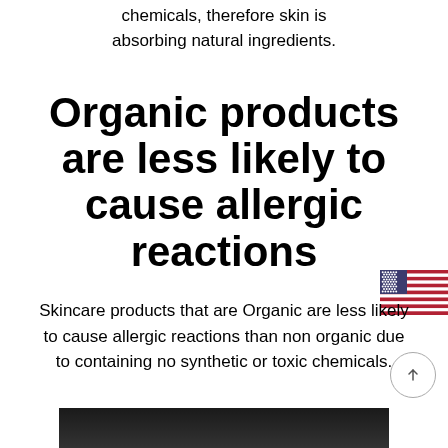chemicals, therefore skin is absorbing natural ingredients.
Organic products are less likely to cause allergic reactions
Skincare products that are Organic are less likely to cause allergic reactions than non organic due to containing no synthetic or toxic chemicals.
[Figure (illustration): US flag in top-right corner area]
[Figure (photo): Bottom portion of a photo showing tops of two heads with dark hair against black background]